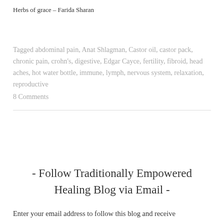Herbs of grace – Farida Sharan
Tagged abdominal pain, Anat Shlagman, Castor oil, castor pack, chronic pain, crohn's, digestive, Edgar Cayce, fertility, fibroid, head aches, hot water bottle, immune, lymph, nervous system, relaxation, reproductive
8 Comments
- Follow Traditionally Empowered Healing Blog via Email -
Enter your email address to follow this blog and receive